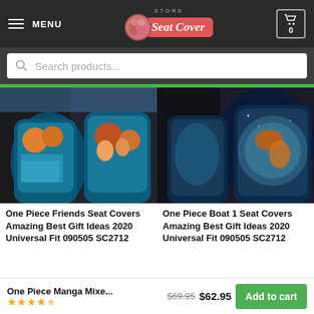MENU | Store Seat Cover | 0
Search products...
[Figure (photo): Two anime-themed car seat covers (One Piece Friends) installed in a car, showing colorful anime character artwork]
[Figure (photo): Two anime-themed car seat covers (One Piece Boat 1) installed in a car, showing space/galaxy themed artwork]
One Piece Friends Seat Covers Amazing Best Gift Ideas 2020 Universal Fit 090505 SC2712
One Piece Boat 1 Seat Covers Amazing Best Gift Ideas 2020 Universal Fit 090505 SC2712
One Piece Manga Mixe...
$69.95  $62.95
Add to cart